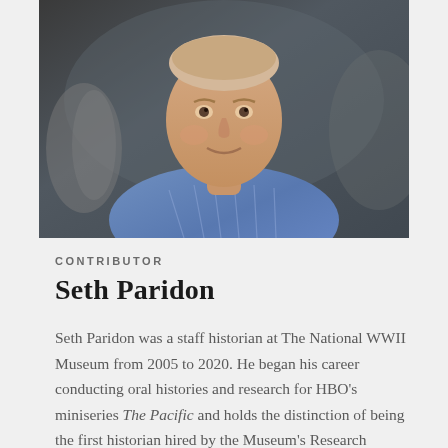[Figure (photo): Portrait photo of Seth Paridon, a man in a blue plaid shirt, smiling, with aircraft/propeller visible in the background, taken inside what appears to be an aircraft hangar or museum.]
CONTRIBUTOR
Seth Paridon
Seth Paridon was a staff historian at The National WWII Museum from 2005 to 2020. He began his career conducting oral histories and research for HBO's miniseries The Pacific and holds the distinction of being the first historian hired by the Museum's Research Department. In the 12 years he was Manager of Research Services, Seth and